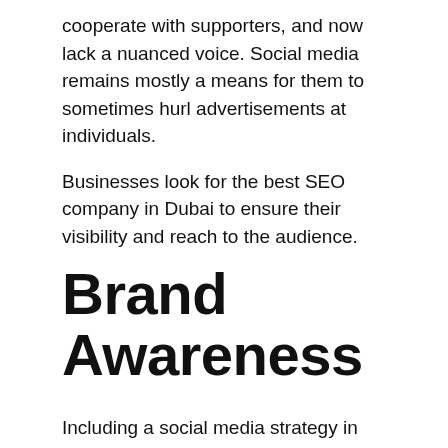cooperate with supporters, and now lack a nuanced voice. Social media remains mostly a means for them to sometimes hurl advertisements at individuals.
Businesses look for the best SEO company in Dubai to ensure their visibility and reach to the audience.
Brand Awareness
Including a social media strategy in your marketing strategy increases brand awareness and recognition. It's an excellent opportunity to discuss the most recent news and product